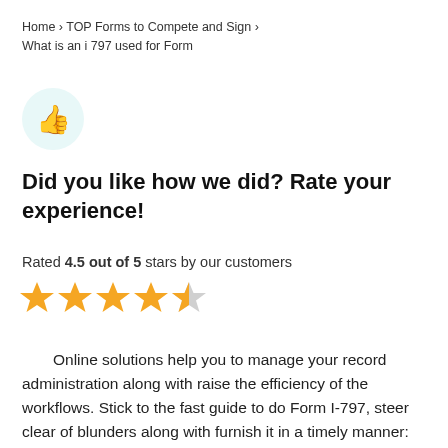Home › TOP Forms to Compete and Sign › What is an i 797 used for Form
[Figure (illustration): Yellow thumbs-up emoji icon inside a light teal circle]
Did you like how we did? Rate your experience!
Rated 4.5 out of 5 stars by our customers
[Figure (other): 4.5 out of 5 gold stars rating: four full stars and one half star]
Online solutions help you to manage your record administration along with raise the efficiency of the workflows. Stick to the fast guide to do Form I-797, steer clear of blunders along with furnish it in a timely manner: